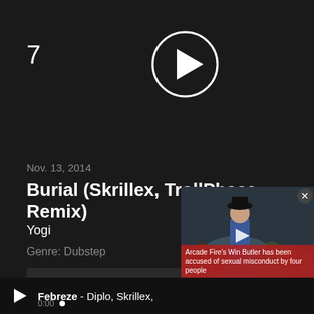7
[Figure (other): Play button circle with triangle icon]
Nov. 13, 2014
Burial (Skrillex, TrollPhace Remix)
Yogi
Genre: Dubstep
Free Download
[Figure (photo): Video overlay showing a person in a blue suit and black hat in a crowd. Red caption bar at bottom reads: Arcade Fire's Win Butler has been accused of sexual misconduct by four people]
Febreze - Diplo, Skrillex,
0:00